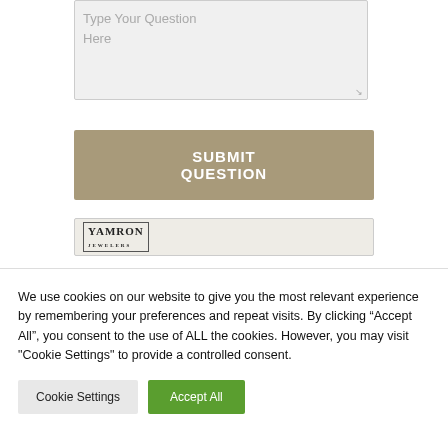[Figure (screenshot): A textarea input field with placeholder text 'Type Your Question Here' on a light gray background with a resize handle at bottom right]
[Figure (screenshot): A tan/khaki colored button with white bold uppercase text reading 'SUBMIT QUESTION']
[Figure (logo): Yamron Jewelers logo bar on a light beige background]
We use cookies on our website to give you the most relevant experience by remembering your preferences and repeat visits. By clicking “Accept All”, you consent to the use of ALL the cookies. However, you may visit "Cookie Settings" to provide a controlled consent.
[Figure (screenshot): Two buttons: 'Cookie Settings' (gray) and 'Accept All' (green)]